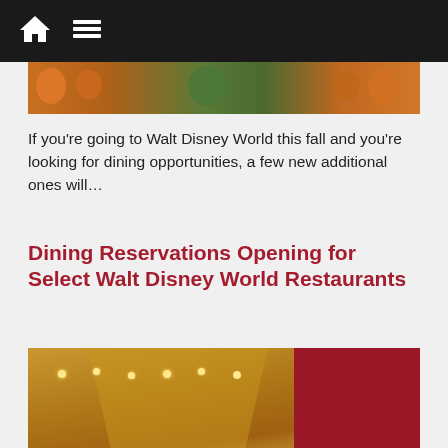Navigation bar with home and menu icons
[Figure (photo): Top partial image showing orange and green seasonal decorations at Walt Disney World]
If you're going to Walt Disney World this fall and you're looking for dining opportunities, a few new additional ones will…
Dining Reservations Opening for Select Walt Disney World Restaurants
[Figure (photo): Interior of a Walt Disney World restaurant with warm yellow ceiling, decorative lights, and red accent wall with a logo watermark]
[Figure (photo): Partial bottom image showing another Disney dining venue interior]